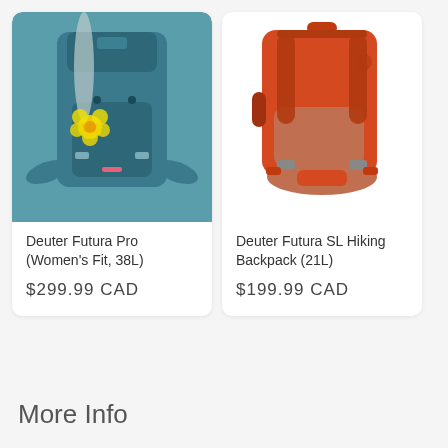[Figure (photo): Teal/dark blue Deuter Futura Pro hiking backpack (women's fit, 38L) with a yellow flower decoration on the side strap, shown from front-side angle.]
Deuter Futura Pro (Women's Fit, 38L)
$299.99 CAD
[Figure (photo): Orange/red Deuter Futura SL hiking backpack (21L) with salmon-colored hip belt, shown from front-side angle on white background.]
Deuter Futura SL Hiking Backpack (21L)
$199.99 CAD
More Info